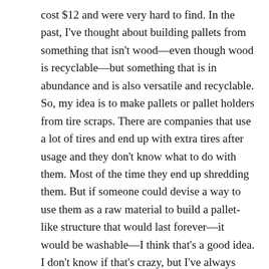cost $12 and were very hard to find. In the past, I've thought about building pallets from something that isn't wood—even though wood is recyclable—but something that is in abundance and is also versatile and recyclable. So, my idea is to make pallets or pallet holders from tire scraps. There are companies that use a lot of tires and end up with extra tires after usage and they don't know what to do with them. Most of the time they end up shredding them. But if someone could devise a way to use them as a raw material to build a pallet-like structure that would last forever—it would be washable—I think that's a good idea. I don't know if that's crazy, but I've always thought that. Early in